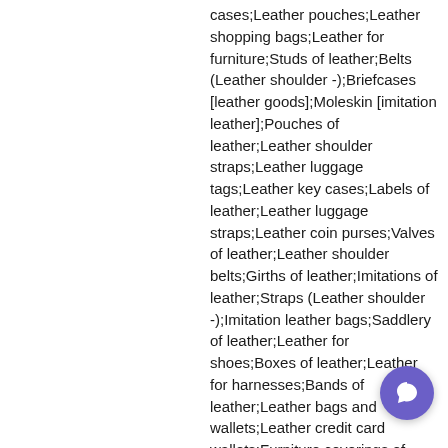cases;Leather pouches;Leather shopping bags;Leather for furniture;Studs of leather;Belts (Leather shoulder -);Briefcases [leather goods];Moleskin [imitation leather];Pouches of leather;Leather shoulder straps;Leather luggage tags;Leather key cases;Labels of leather;Leather luggage straps;Leather coin purses;Valves of leather;Leather shoulder belts;Girths of leather;Imitations of leather;Straps (Leather shoulder -);Imitation leather bags;Saddlery of leather;Leather for shoes;Boxes of leather;Leather for harnesses;Bands of leather;Leather bags and wallets;Leather credit card wallets;Furniture coverings of leather;Key cases [leather goods];Animal skins;Skins (Animal -);Animal skins, hides;Animal skins and hides;Skins (Cattle -);Curried skins;Goldbeaters' skin;Raw skins (Goldbeaters' -);Fur-skins;Cattle skins;Gold beaters' skin;Animal apparel;Animal leashes;Animal
[Figure (other): Purple chat support button in bottom right corner]